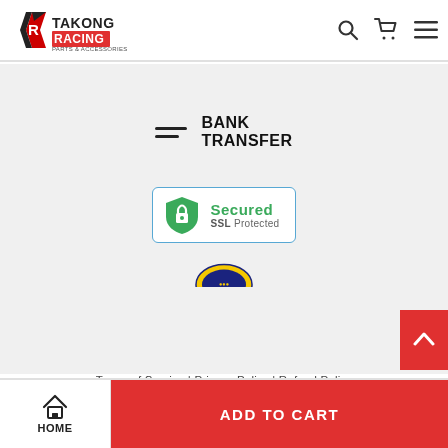Takong Racing Parts & Accessories — header with search, cart, and menu icons
[Figure (logo): Bank Transfer icon with two horizontal lines and bold uppercase text BANK TRANSFER]
[Figure (logo): Secured SSL Protected badge with green shield lock icon, green 'Secured' text, grey 'SSL Protected' subtext, blue border]
[Figure (logo): Partial circular logo partially visible at bottom of main content area (yellow and dark colors)]
Terms of Service | Privacy Policy | Refund Policy
ADD TO CART